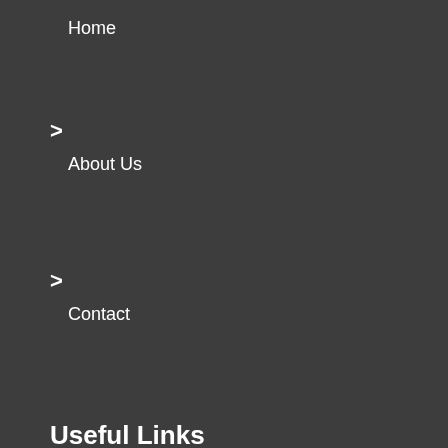Home
About Us
Contact
Useful Links
Privacy Policy
Terms and Conditions